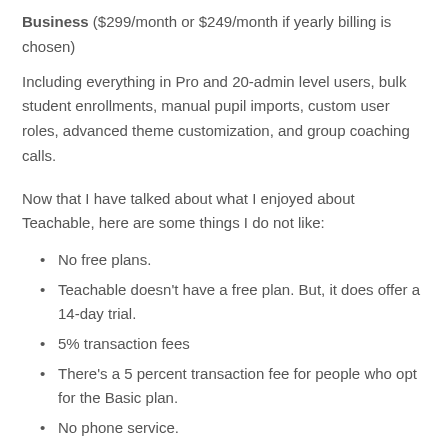Business ($299/month or $249/month if yearly billing is chosen)
Including everything in Pro and 20-admin level users, bulk student enrollments, manual pupil imports, custom user roles, advanced theme customization, and group coaching calls.
Now that I have talked about what I enjoyed about Teachable, here are some things I do not like:
No free plans.
Teachable doesn't have a free plan. But, it does offer a 14-day trial.
5% transaction fees
There's a 5 percent transaction fee for people who opt for the Basic plan.
No phone service.
There is no phone number to contact for queries.